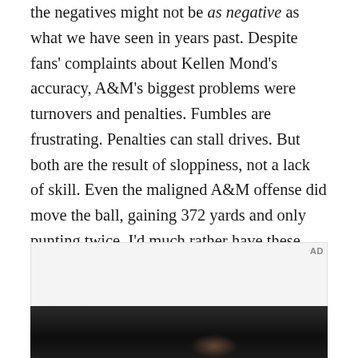the negatives might not be as negative as what we have seen in years past. Despite fans' complaints about Kellen Mond's accuracy, A&M's biggest problems were turnovers and penalties. Fumbles are frustrating. Penalties can stall drives. But both are the result of sloppiness, not a lack of skill. Even the maligned A&M offense did move the ball, gaining 372 yards and only punting twice. I'd much rather have these seemingly correctable problems than see an offensive line that can't protect their QB or a defense that can't tackle (and we've seen both of those before).
[Figure (other): Advertisement placeholder box (gray background with AD label)]
[Figure (photo): Dark photograph strip at bottom of page, dark tones with slight warm glow visible]